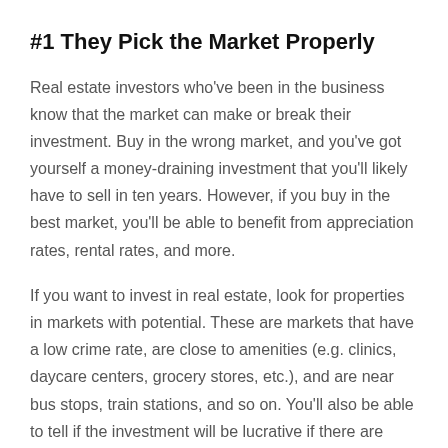#1 They Pick the Market Properly
Real estate investors who've been in the business know that the market can make or break their investment. Buy in the wrong market, and you've got yourself a money-draining investment that you'll likely have to sell in ten years. However, if you buy in the best market, you'll be able to benefit from appreciation rates, rental rates, and more.
If you want to invest in real estate, look for properties in markets with potential. These are markets that have a low crime rate, are close to amenities (e.g. clinics, daycare centers, grocery stores, etc.), and are near bus stops, train stations, and so on. You'll also be able to tell if the investment will be lucrative if there are plenty of employment opportunities.
On the other hand, you should steer clear of markets that rely solely on tourism, as you'll have to run a vacation rental